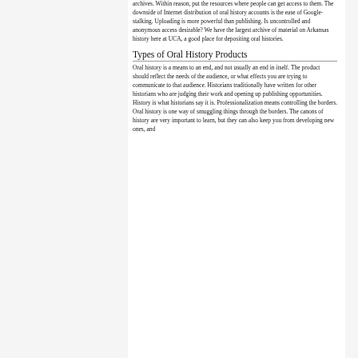archives. Within reason, put the resources where people can get access to them. The downside of Internet distribution of oral history accounts is the ease of Google-stalking. Uploading is more powerful than publishing. Is uncontrolled and anonymous access desirable? We have the largest archive of material on Arkansas history here at UCA, a good place for depositing oral histories.
Types of Oral History Products
Oral history is a means to an end, and not usually an end in itself. The product should reflect the needs of the audience, or what effects you are trying to communicate to that audience. Historians traditionally have written for other historians who are judging their work and opening up publishing opportunities. History is what historians say it is. Professionalization means controlling the borders. Oral history is one way of smuggling things through the borders. The canons of history are very important to learn, but they can also keep you from developing new ones, and